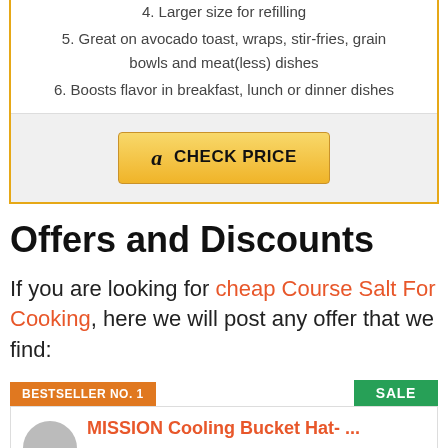4. Larger size for refilling
5. Great on avocado toast, wraps, stir-fries, grain bowls and meat(less) dishes
6. Boosts flavor in breakfast, lunch or dinner dishes
[Figure (other): Amazon CHECK PRICE button with Amazon logo]
Offers and Discounts
If you are looking for cheap Course Salt For Cooking, here we will post any offer that we find:
BESTSELLER NO. 1
SALE
MISSION Cooling Bucket Hat- ...